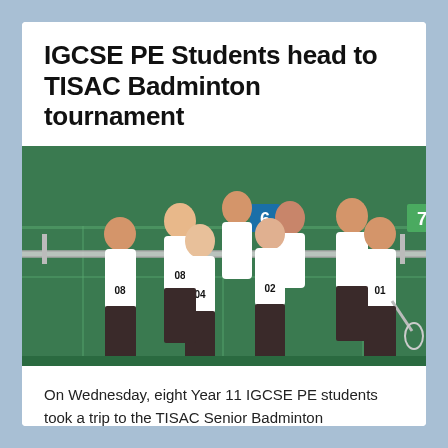IGCSE PE Students head to TISAC Badminton tournament
[Figure (photo): Group photo of eight Year 11 IGCSE PE students in white numbered jerseys (01, 02, 04, 08) standing on a green indoor badminton court. Some hold badminton rackets. Green court background with net and numbered court markers (6 and 7 visible).]
On Wednesday, eight Year 11 IGCSE PE students took a trip to the TISAC Senior Badminton